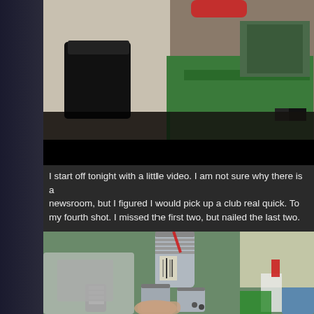[Figure (photo): Top photo showing a newsroom or office space with a trash can with black plastic bag on the left and a mini golf putting green on the right, with a blurred red element at top and shoes visible]
I start off tonight with a little video.  I am not sure why there is a newsroom, but I figured I would pick up a club real quick.  To my fourth shot.  I missed the first two, but nailed the last two.
[Figure (photo): Bottom photo showing metal threaded cylindrical parts being held in a hand, with springs or coils visible, equipment in background, and spray bottle with red trigger visible on right]